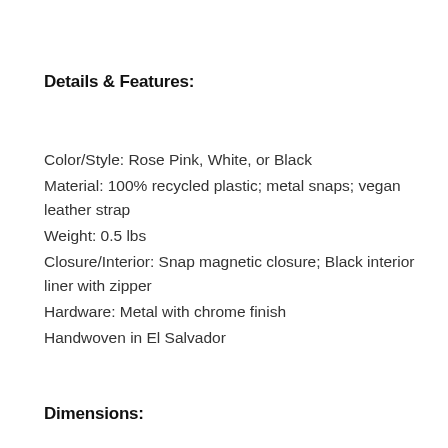Details & Features:
Color/Style: Rose Pink, White, or Black
Material: 100% recycled plastic; metal snaps; vegan leather strap
Weight: 0.5 lbs
Closure/Interior: Snap magnetic closure; Black interior liner with zipper
Hardware: Metal with chrome finish
Handwoven in El Salvador
Dimensions: